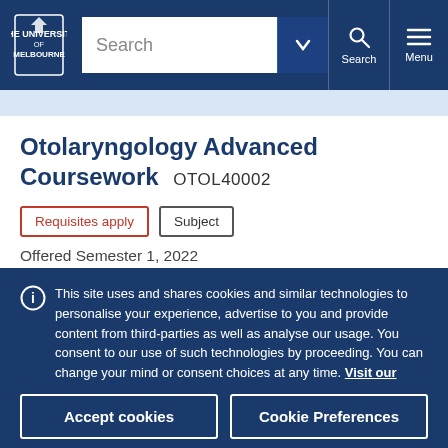University of Melbourne — Search navigation bar
Otolaryngology Advanced Coursework OTOL40002
Requisites apply | Subject
Offered Semester 1, 2022
This site uses and shares cookies and similar technologies to personalise your experience, advertise to you and provide content from third-parties as well as analyse our usage. You consent to our use of such technologies by proceeding. You can change your mind or consent choices at any time. Visit our Privacy Statement for further information.
Accept cookies | Cookie Preferences